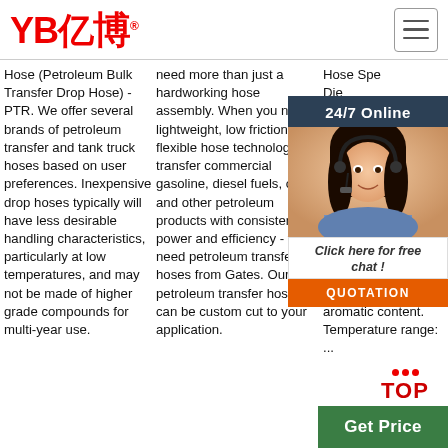YB亿博 logo and navigation
Hose (Petroleum Bulk Transfer Drop Hose) - PTR. We offer several brands of petroleum transfer and tank truck hoses based on user preferences. Inexpensive drop hoses typically will have less desirable handling characteristics, particularly at low temperatures, and may not be made of higher grade compounds for multi-year use.
need more than just a hardworking hose assembly. When you need lightweight, low friction, flexible hose technology to transfer commercial gasoline, diesel fuels, oils and other petroleum products with consistent power and efficiency - you need petroleum transfer hoses from Gates. Our petroleum transfer hoses can be custom cut to your application.
Hose Spe... Die... Suc... Hos... use and ope dies blen etha gas petroleum products up to 60% aromatic content. Temperature range: ...
[Figure (photo): Customer service representative with headset, smiling. Overlay panel with 24/7 Online banner, chat prompt, QUOTATION button.]
Get Price